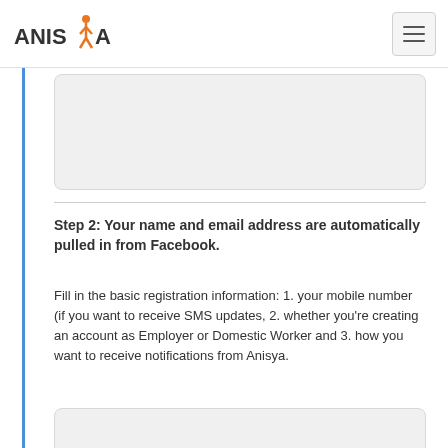ANISYA [logo with navigation menu button]
[Figure (other): Gray rounded rectangle placeholder box (partially visible at top of content area)]
Step 2: Your name and email address are automatically pulled in from Facebook.
Fill in the basic registration information: 1. your mobile number (if you want to receive SMS updates, 2. whether you're creating an account as Employer or Domestic Worker and 3. how you want to receive notifications from Anisya.
[Figure (other): Gray rounded rectangle placeholder box (partially visible at bottom of content area)]